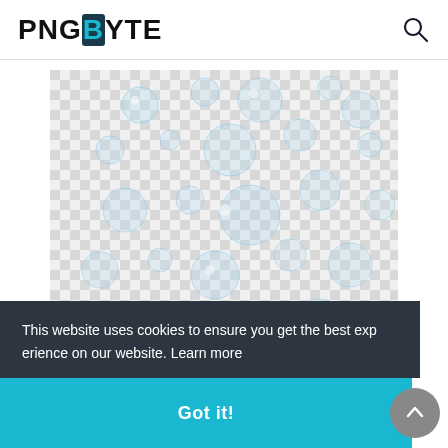PNGBYTE
[Figure (illustration): Soap bubbles PNG image on a transparent checkered background — multiple translucent blue-white circular bubbles of varying sizes scattered across the image area]
Circle, Soap Bubbles Pn Soap Bubbles Png, soap bubble
This website uses cookies to ensure you get the best experience on our website. Learn more
Got it!